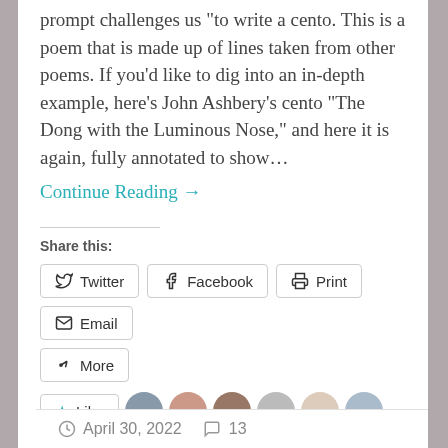prompt challenges us "to write a cento. This is a poem that is made up of lines taken from other poems. If you'd like to dig into an in-depth example, here’s John Ashbery’s cento “The Dong with the Luminous Nose,” and here it is again, fully annotated to show…
Continue Reading →
Share this:
Twitter
Facebook
Print
Email
More
Like
10 bloggers like this.
April 30, 2022   13